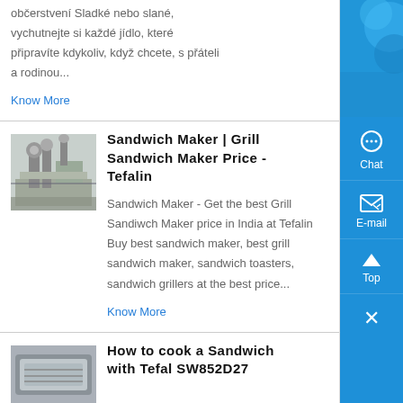občerstvení Sladké nebo slané, vychutnejte si každé jídlo, které připravíte kdykoliv, když chcete, s přáteli a rodinou...
Know More
[Figure (photo): Industrial equipment or machinery, outdoor setting]
Sandwich Maker | Grill Sandwich Maker Price - Tefalin
Sandwich Maker - Get the best Grill Sandiwch Maker price in India at Tefalin Buy best sandwich maker, best grill sandwich maker, sandwich toasters, sandwich grillers at the best price...
Know More
[Figure (photo): Sandwich maker or kitchen appliance, partial view]
How to cook a Sandwich with Tefal SW852D27